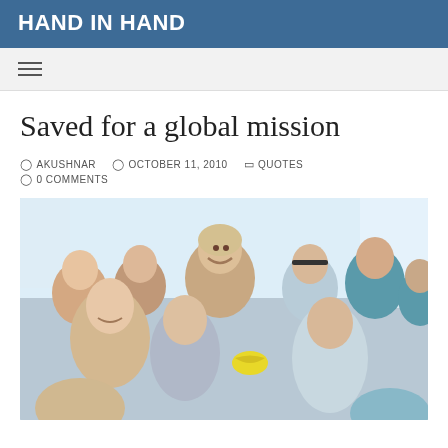HAND IN HAND
Saved for a global mission
AKUSHNAR   OCTOBER 11, 2010   QUOTES   0 COMMENTS
[Figure (photo): A smiling adult man surrounded by a group of happy children of various ages, posing together for a group photo indoors.]